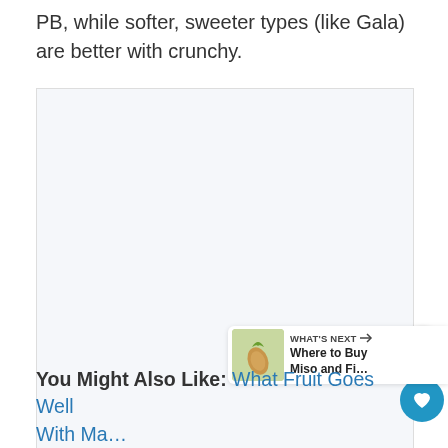PB, while softer, sweeter types (like Gala) are better with crunchy.
[Figure (photo): Large image placeholder area with light gray/blue background, partially visible. Contains a blue circular heart/favorite button and a white circular share button overlaid on the bottom-right corner. A 'What's Next' banner with an image of an almond and text 'Where to Buy Miso and Fi...' appears at the bottom-right.]
You Might Also Like: What Fruit Goes Well With Ma... In A Smoothie? (10 Am...